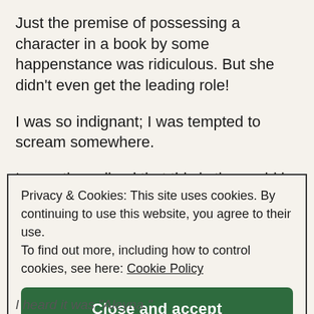Just the premise of possessing a character in a book by some happenstance was ridiculous. But she didn't even get the leading role!
I was so indignant; I was tempted to scream somewhere.
I recently realized that this is the world in a novel called “The Princess Aleyna.”
Privacy & Cookies: This site uses cookies. By continuing to use this website, you agree to their use.
To find out more, including how to control cookies, see here: Cookie Policy
Close and accept
I heard it was \"Aleyna.\"